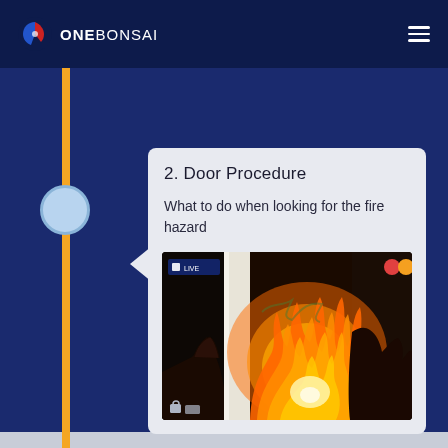ONEBONSAI
2. Door Procedure
What to do when looking for the fire hazard
[Figure (photo): Video screenshot showing a person's hands opening a door with a large fire visible through the door opening, with video player UI overlay elements.]